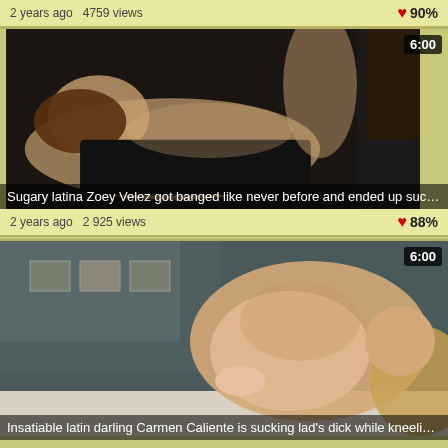2 years ago  4759 views    ❤ 90%
[Figure (photo): Video thumbnail: Sugary latina Zoey Velez got banged like never before and ended up sucking a rock ha... Duration badge: 6:00]
Sugary latina Zoey Velez got banged like never before and ended up sucking a rock ha...
2 years ago  2 925 views    ❤ 88%
[Figure (photo): Video thumbnail: Insatiable latin darling Carmen Caliente is sucking lad's dick while kneeling in front of... Duration badge: 6:00]
Insatiable latin darling Carmen Caliente is sucking lad's dick while kneeling in front of...